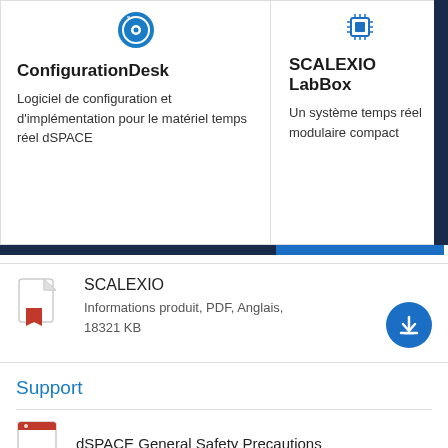[Figure (screenshot): ConfigurationDesk software screenshot icon (CD disc icon)]
ConfigurationDesk
Logiciel de configuration et d'implémentation pour le matériel temps réel dSPACE
[Figure (photo): SCALEXIO LabBox hardware photo and chip icon]
SCALEXIO LabBox
Un système temps réel modulaire compact
[Figure (other): PDF file icon with red arrow]
SCALEXIO
Informations produit, PDF, Anglais,
18321 KB
Support
dSPACE General Safety Precautions